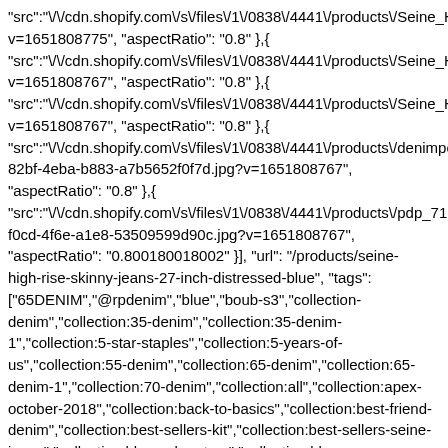"src":"\/\/cdn.shopify.com\/s\/files\/1\/0838\/4441\/products\/Seine_H v=1651808775", "aspectRatio": "0.8" },{ "src":"\/\/cdn.shopify.com\/s\/files\/1\/0838\/4441\/products\/Seine_H v=1651808767", "aspectRatio": "0.8" },{ "src":"\/\/cdn.shopify.com\/s\/files\/1\/0838\/4441\/products\/Seine_H v=1651808767", "aspectRatio": "0.8" },{ "src":"\/\/cdn.shopify.com\/s\/files\/1\/0838\/4441\/products\/denimpo 82bf-4eba-b883-a7b5652f0f7d.jpg?v=1651808767", "aspectRatio": "0.8" },{ "src":"\/\/cdn.shopify.com\/s\/files\/1\/0838\/4441\/products\/pdp_71 f0cd-4f6e-a1e8-53509599d90c.jpg?v=1651808767", "aspectRatio": "0.800180018002" }], "url": "/products/seine-high-rise-skinny-jeans-27-inch-distressed-blue", "tags": ["65DENIM","@rpdenim","blue","boub-s3","collection-denim","collection:35-denim","collection:35-denim-1","collection:5-star-staples","collection:5-years-of-us","collection:55-denim","collection:65-denim","collection:65-denim-1","collection:70-denim","collection:all","collection:apex-october-2018","collection:back-to-basics","collection:best-friend-denim","collection:best-sellers-kit","collection:best-sellers-seine-jeans","collection:blue-color-story","collection:blue-dreaming","collection:classic-denim","collection:classic-jeans","collection:connected-by-love","collection:cyber-monday-denim-drive","collection:cyber-monday-high-rise","collection:cyber-monday-skinny","collection:denim-blue-